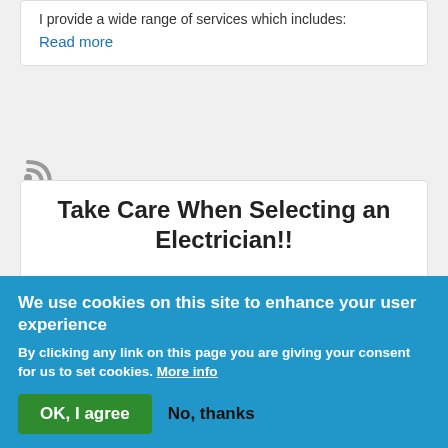I provide a wide range of services which includes:
Read more
[Figure (other): RSS feed icon]
Take Care When Selecting an Electrician!!
Many other Electricians in Medway are simply not interested in small electrical works. They want the choice jobs, and will drop you like a hot potato when
We use cookies on this site to enhance your user experience
By clicking any link on this page you are giving your consent for us to set cookies. More info
OK, I agree
No, thanks